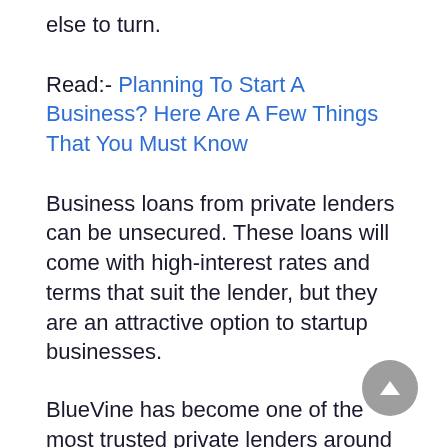else to turn.
Read:- Planning To Start A Business? Here Are A Few Things That You Must Know
Business loans from private lenders can be unsecured. These loans will come with high-interest rates and terms that suit the lender, but they are an attractive option to startup businesses.
BlueVine has become one of the most trusted private lenders around and set a good standard for others in the industry. That said, they are not a viable option for